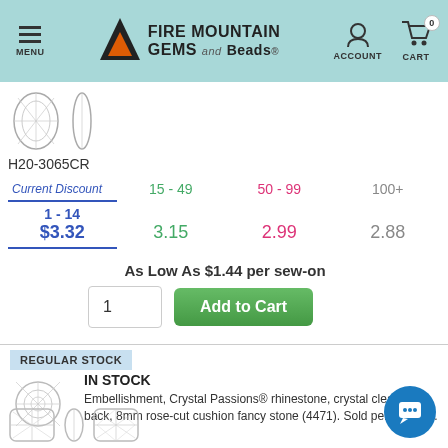MENU | FIRE MOUNTAIN GEMS and Beads | ACCOUNT | CART 0
[Figure (photo): Two product images of crystal rhinestone sew-on oval stone]
H20-3065CR
| Current Discount | 15 - 49 | 50 - 99 | 100+ |
| --- | --- | --- | --- |
| 1 - 14 | 15 - 49 | 50 - 99 | 100+ |
| $3.32 | 3.15 | 2.99 | 2.88 |
As Low As $1.44 per sew-on
1  Add to Cart
REGULAR STOCK
IN STOCK
Embellishment, Crystal Passions® rhinestone, crystal clear, foil back, 8mm rose-cut cushion fancy stone (4471). Sold per pkg of 2.
[Figure (photo): Product thumbnail of crystal rhinestone cushion fancy stone]
[Figure (photo): Three product images at bottom of page showing cushion fancy stone from multiple angles]